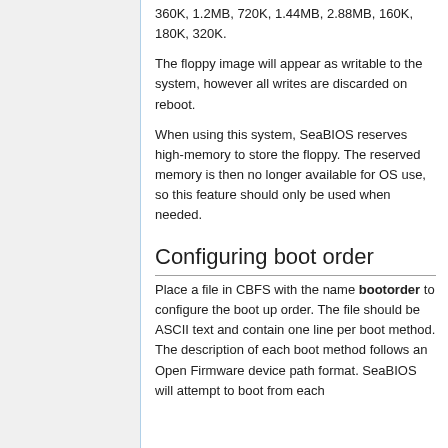360K, 1.2MB, 720K, 1.44MB, 2.88MB, 160K, 180K, 320K.
The floppy image will appear as writable to the system, however all writes are discarded on reboot.
When using this system, SeaBIOS reserves high-memory to store the floppy. The reserved memory is then no longer available for OS use, so this feature should only be used when needed.
Configuring boot order
Place a file in CBFS with the name bootorder to configure the boot up order. The file should be ASCII text and contain one line per boot method. The description of each boot method follows an Open Firmware device path format. SeaBIOS will attempt to boot from each